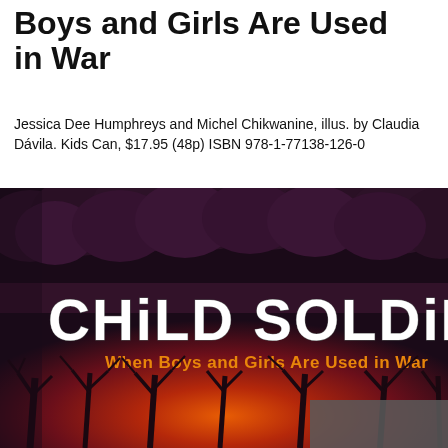Boys and Girls Are Used in War
Jessica Dee Humphreys and Michel Chikwanine, illus. by Claudia Dávila. Kids Can, $17.95 (48p) ISBN 978-1-77138-126-0
[Figure (illustration): Book cover of 'Child Soldier: When Boys and Girls Are Used in War' showing a dark, dramatic illustration with silhouetted bare trees in the foreground, orange/red fire glow in the middle ground, and dark purple tree canopy silhouettes against a dark sky in the background. The title 'CHiLD SOLDiER' appears in large distressed white letters, with the subtitle 'When Boys and Girls Are Used in War' in orange below.]